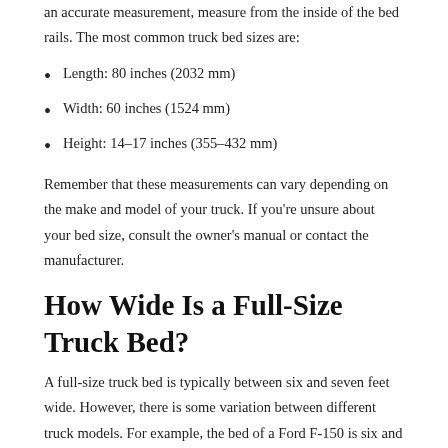an accurate measurement, measure from the inside of the bed rails. The most common truck bed sizes are:
Length: 80 inches (2032 mm)
Width: 60 inches (1524 mm)
Height: 14–17 inches (355–432 mm)
Remember that these measurements can vary depending on the make and model of your truck. If you're unsure about your bed size, consult the owner's manual or contact the manufacturer.
How Wide Is a Full-Size Truck Bed?
A full-size truck bed is typically between six and seven feet wide. However, there is some variation between different truck models. For example, the bed of a Ford F-150 is six and a half feet wide, while the bed of a Chevy Silverado is seven feet wide. The width of the bed is important to consider when choosing a truck, as it will determine how much cargo the truck can carry.